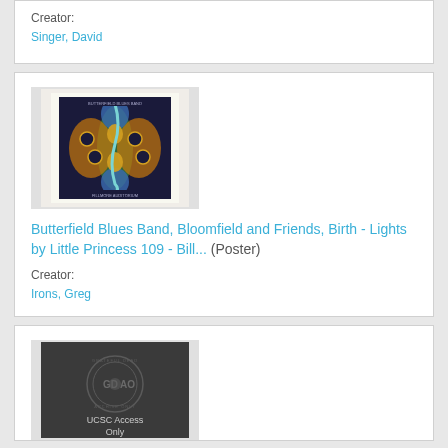Creator:
Singer, David
[Figure (photo): Thumbnail of colorful psychedelic concert poster for Butterfield Blues Band featuring ornate symmetrical design with snake/guitar imagery in blues, greens, oranges on dark background]
Butterfield Blues Band, Bloomfield and Friends, Birth - Lights by Little Princess 109 - Bill... (Poster)
Creator:
Irons, Greg
[Figure (photo): Dark gray placeholder image with UCSC Access Only watermark/stamp, showing GD AO text in circular seal design]